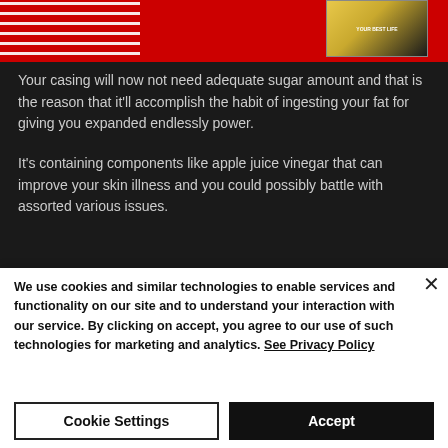[Figure (screenshot): Cropped article page screenshot showing a red-background banner with a person in a striped shirt and a product book cover on the right, over a dark background with article body text partially visible.]
Your casing will now not need adequate sugar amount and that is the reason that it'll accomplish the habit of ingesting your fat for giving you expanded endlessly power.
It's containing components like apple juice vinegar that can improve your skin illness and you could possibly battle with assorted various issues.
We use cookies and similar technologies to enable services and functionality on our site and to understand your interaction with our service. By clicking on accept, you agree to our use of such technologies for marketing and analytics. See Privacy Policy